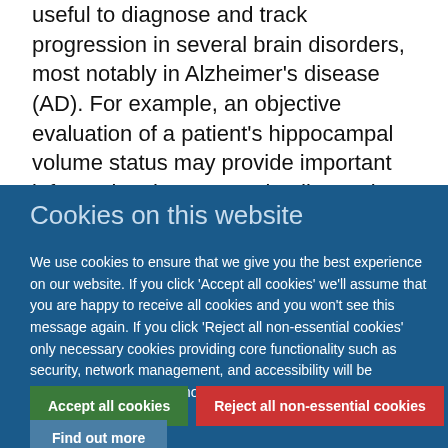useful to diagnose and track progression in several brain disorders, most notably in Alzheimer's disease (AD). For example, an objective evaluation of a patient's hippocampal volume status may provide important information that can assist diagnosis or risk stratification of AD. However, clinicians
Cookies on this website
We use cookies to ensure that we give you the best experience on our website. If you click 'Accept all cookies' we'll assume that you are happy to receive all cookies and you won't see this message again. If you click 'Reject all non-essential cookies' only necessary cookies providing core functionality such as security, network management, and accessibility will be enabled. Click 'Find out more' for information on how to change your cookie settings.